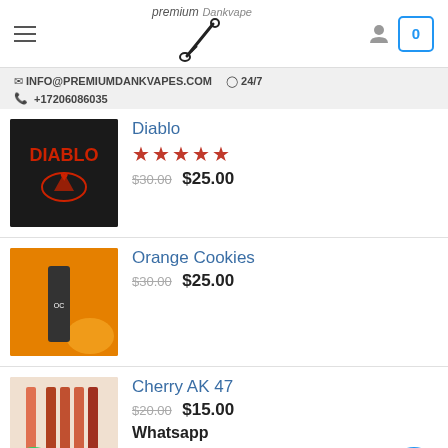premium Dankvape — navigation header with hamburger menu, logo, user icon, cart (0)
✉ INFO@PREMIUMDANKVAPES.COM   🕐 24/7
📞 +17206086035
Diablo
★★★★★
$30.00  $25.00
Orange Cookies
$30.00  $25.00
Cherry AK 47
$20.00  $15.00
Whatsapp
King Louie
$30.00  $15.00